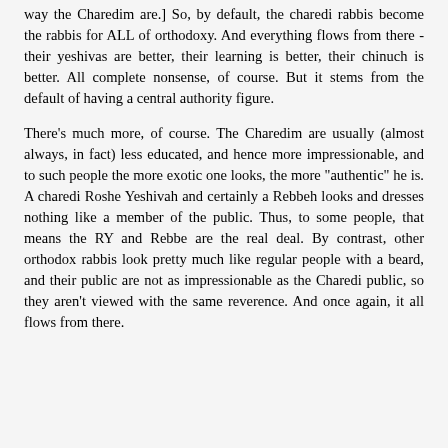way the Charedim are.] So, by default, the charedi rabbis become the rabbis for ALL of orthodoxy. And everything flows from there - their yeshivas are better, their learning is better, their chinuch is better. All complete nonsense, of course. But it stems from the default of having a central authority figure.
There's much more, of course. The Charedim are usually (almost always, in fact) less educated, and hence more impressionable, and to such people the more exotic one looks, the more "authentic" he is. A charedi Roshe Yeshivah and certainly a Rebbeh looks and dresses nothing like a member of the public. Thus, to some people, that means the RY and Rebbe are the real deal. By contrast, other orthodox rabbis look pretty much like regular people with a beard, and their public are not as impressionable as the Charedi public, so they aren't viewed with the same reverence. And once again, it all flows from there.